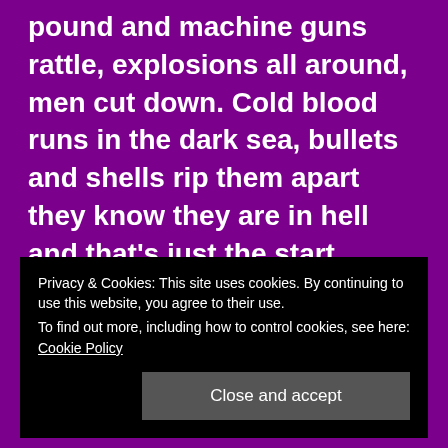allied soldiers die in the ensuing battle heavy guns pound and machine guns rattle, explosions all around, men cut down. Cold blood runs in the dark sea, bullets and shells rip them apart they know they are in hell and that's just the start.
Privacy & Cookies: This site uses cookies. By continuing to use this website, you agree to their use.
To find out more, including how to control cookies, see here: Cookie Policy